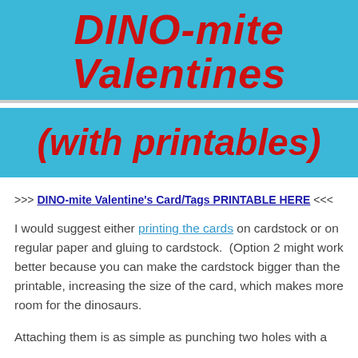DINO-mite Valentines (with printables)
>>> DINO-mite Valentine's Card/Tags PRINTABLE HERE <<<
I would suggest either printing the cards on cardstock or on regular paper and gluing to cardstock. (Option 2 might work better because you can make the cardstock bigger than the printable, increasing the size of the card, which makes more room for the dinosaurs.
Attaching them is as simple as punching two holes with a